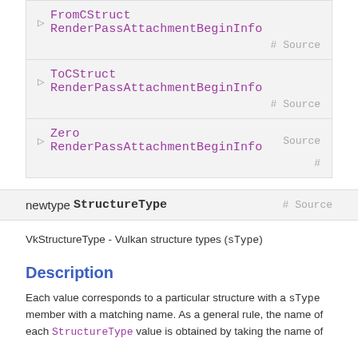▷ FromCStruct RenderPassAttachmentBeginInfo # Source
▷ ToCStruct RenderPassAttachmentBeginInfo # Source
▷ Zero RenderPassAttachmentBeginInfo Source #
newtype StructureType # Source
VkStructureType - Vulkan structure types (sType)
Description
Each value corresponds to a particular structure with a sType member with a matching name. As a general rule, the name of each StructureType value is obtained by taking the name of